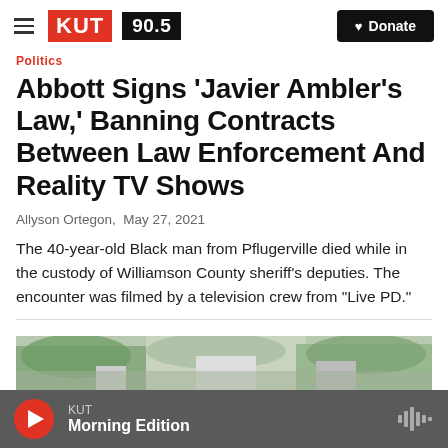KUT 90.5 | Donate
Politics
Abbott Signs 'Javier Ambler's Law,' Banning Contracts Between Law Enforcement And Reality TV Shows
Allyson Ortegon, May 27, 2021
The 40-year-old Black man from Pflugerville died while in the custody of Williamson County sheriff's deputies. The encounter was filmed by a television crew from "Live PD."
[Figure (photo): Partial view of a building exterior with foliage]
KUT Morning Edition